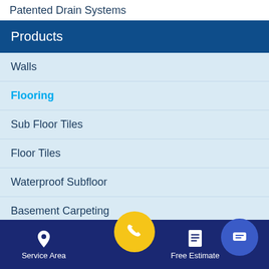Patented Drain Systems
Products
Walls
Flooring
Sub Floor Tiles
Floor Tiles
Waterproof Subfloor
Basement Carpeting
Energy Efficient Dehumidifiers
Replacement Windows
Gutters Downspouts
Service Area | Phone | Free Estimate